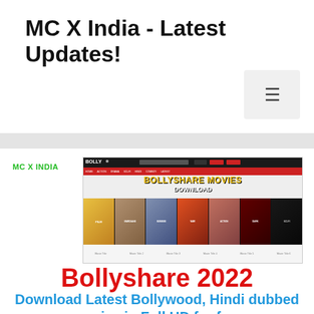MC X India - Latest Updates!
[Figure (screenshot): Screenshot of Bollyshare movies website showing movie posters and site header with BOLLYSHARE MOVIES DOWNLOAD text]
Bollyshare 2022
Download Latest Bollywood, Hindi dubbed movies in Full HD for free